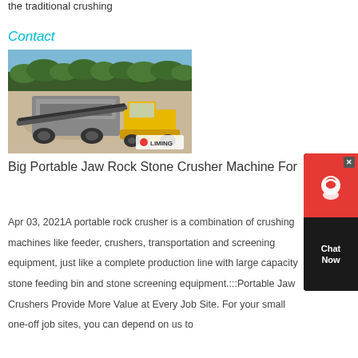the traditional crushing
Contact
[Figure (photo): A portable jaw rock stone crusher machine operating at a quarry site with trees in the background and a yellow loader vehicle nearby. Logo: LIMING at bottom right.]
Big Portable Jaw Rock Stone Crusher Machine For
Apr 03, 2021A portable rock crusher is a combination of crushing machines like feeder, crushers, transportation and screening equipment, just like a complete production line with large capacity stone feeding bin and stone screening equipment.:::Portable Jaw Crushers Provide More Value at Every Job Site. For your small one-off job sites, you can depend on us to